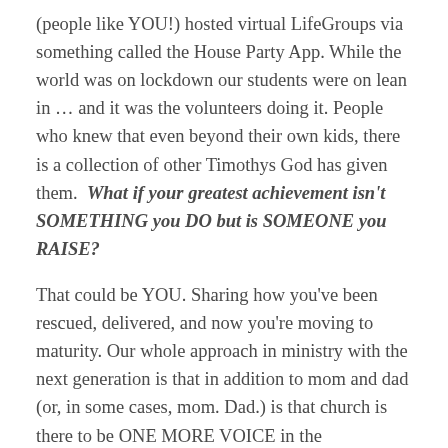(people like YOU!) hosted virtual LifeGroups via something called the House Party App. While the world was on lockdown our students were on lean in … and it was the volunteers doing it. People who knew that even beyond their own kids, there is a collection of other Timothys God has given them.  What if your greatest achievement isn't SOMETHING you DO but is SOMEONE you RAISE?
That could be YOU. Sharing how you've been rescued, delivered, and now you're moving to maturity. Our whole approach in ministry with the next generation is that in addition to mom and dad (or, in some cases, mom. Dad.) is that church is there to be ONE MORE VOICE in the